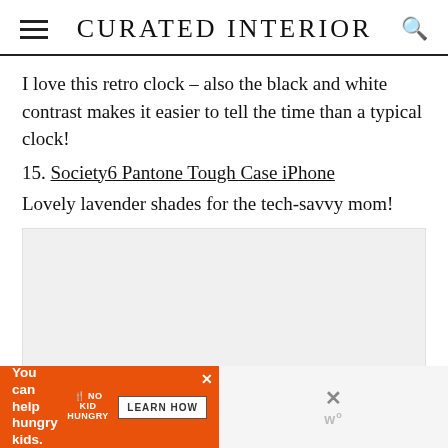CURATED INTERIOR
I love this retro clock – also the black and white contrast makes it easier to tell the time than a typical clock!
15. Society6 Pantone Tough Case iPhone
Lovely lavender shades for the tech-savvy mom!
[Figure (other): Empty image placeholder area with light gray background]
[Figure (other): Advertisement banner: orange section with 'You can help hungry kids.' and No Kid Hungry logo with LEARN HOW button; gray section with close X button]